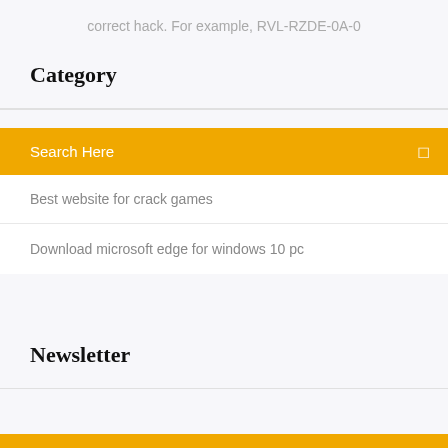correct hack. For example, RVL-RZDE-0A-0
Category
Search Here
Best website for crack games
Download microsoft edge for windows 10 pc
Newsletter